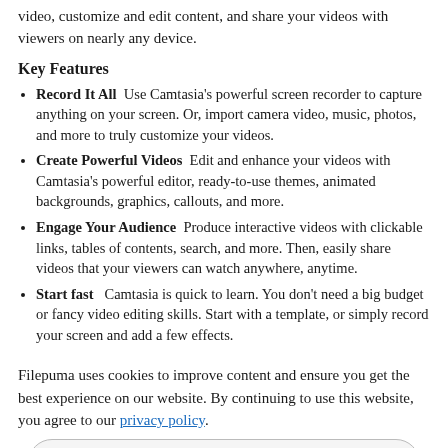video, customize and edit content, and share your videos with viewers on nearly any device.
Key Features
Record It All  Use Camtasia's powerful screen recorder to capture anything on your screen. Or, import camera video, music, photos, and more to truly customize your videos.
Create Powerful Videos  Edit and enhance your videos with Camtasia's powerful editor, ready-to-use themes, animated backgrounds, graphics, callouts, and more.
Engage Your Audience  Produce interactive videos with clickable links, tables of contents, search, and more. Then, easily share videos that your viewers can watch anywhere, anytime.
Start fast  Camtasia is quick to learn. You don't need a big budget or fancy video editing skills. Start with a template, or simply record your screen and add a few effects.
Feel confident  you have video experience or this is your first time making one, we'll give you everything you need to make a high-quality video.
Engage viewers  Create content your viewers actually watch. A video will give you more interaction and help your audience learn more than with text alone.
Filepuma uses cookies to improve content and ensure you get the best experience on our website. By continuing to use this website, you agree to our privacy policy.
ACCEPT